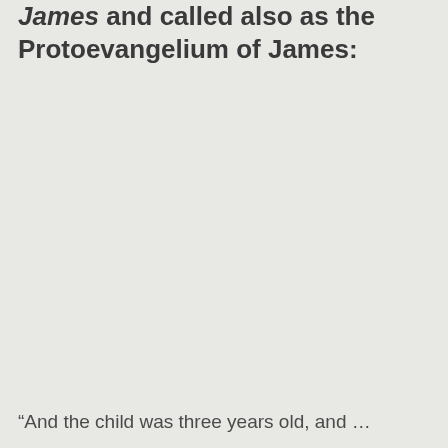James and called also as the Protoevangelium of James:
“And the child was three years old, and …